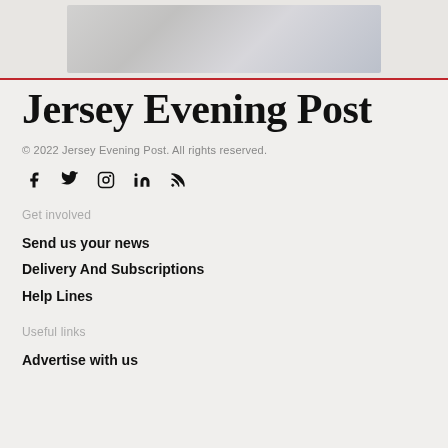[Figure (photo): Newspaper/magazine cover images displayed in a collage at the top of the page]
Jersey Evening Post
© 2022 Jersey Evening Post. All rights reserved.
[Figure (other): Social media icons: Facebook, Twitter, Instagram, LinkedIn, RSS feed]
Get involved
Send us your news
Delivery And Subscriptions
Help Lines
Useful links
Advertise with us